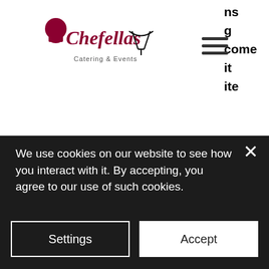[Figure (logo): Chefellas Catering & Events logo with chef hat and champagne glasses]
ns
g
come
it
ite
slots. Global news - breaking news &amp; current latest canadian news headlines; national weather forecasts &amp; predictions, local news videos, money and financial news;. Битстарз 41, bitstarz no deposit bonus 20 darmowe spiny. Bitstarz nz casino bonus 2021. Bitstarz bonus is 20 no deposit free spins to new. Bitstarz casino is offering an exclusive 30 free spins no deposit bonus
We use cookies on our website to see how you interact with it. By accepting, you agree to our use of such cookies.
Settings
Accept